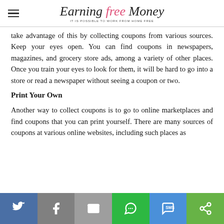Earning free Money — IT IS POSSIBLE TO WORK FROM HOME FREE
take advantage of this by collecting coupons from various sources. Keep your eyes open. You can find coupons in newspapers, magazines, and grocery store ads, among a variety of other places. Once you train your eyes to look for them, it will be hard to go into a store or read a newspaper without seeing a coupon or two.
Print Your Own
Another way to collect coupons is to go to online marketplaces and find coupons that you can print yourself. There are many sources of coupons at various online websites, including such places as
[Figure (infographic): Social sharing bar with icons for Twitter, Facebook, Email, WhatsApp, SMS, and More]